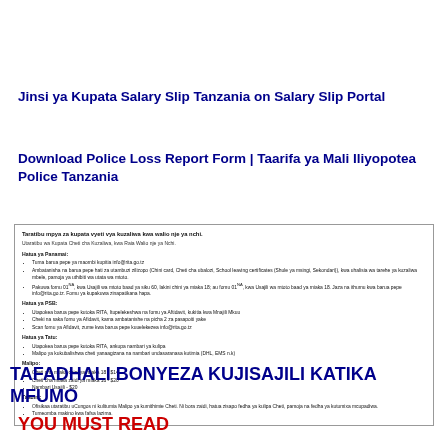Jinsi ya Kupata Salary Slip Tanzania on Salary Slip Portal
Download Police Loss Report Form | Taarifa ya Mali Iliyopotea Police Tanzania
[Figure (screenshot): Screenshot of a Tanzanian government document about procedures for obtaining birth certificates for citizens born abroad (Taratibu mpya za kupata vyeti vya kuzaliwa kwa walio nje ya nchi), with sections on Hatua ya Panamai, Hatua ya PSB, Hatua ya Tatu, Malipo, and Taadini, each with bulleted instructions.]
TAFADHALI BONYEZA KUJISAJILI KATIKA MFUMO
YOU MUST READ